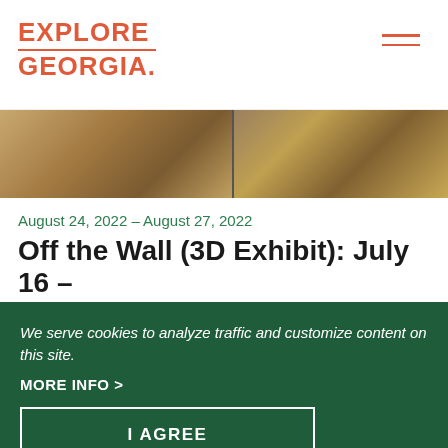[Figure (logo): Explore Georgia logo in coral/salmon color with decorative underline between EXPLORE and GEORGIA]
[Figure (photo): Photo strip showing art objects including a statue figure on left and decorative vases on right, warm brown tones]
August 24, 2022 – August 27, 2022
Off the Wall (3D Exhibit): July 16 – August 27
Blue Ridge Mountains Art Center
We serve cookies to analyze traffic and customize content on this site.
MORE INFO >
I AGREE